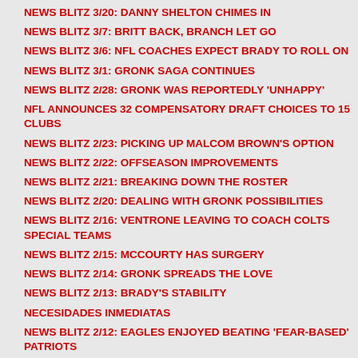NEWS BLITZ 3/20: DANNY SHELTON CHIMES IN
NEWS BLITZ 3/7: BRITT BACK, BRANCH LET GO
NEWS BLITZ 3/6: NFL COACHES EXPECT BRADY TO ROLL ON
NEWS BLITZ 3/1: GRONK SAGA CONTINUES
NEWS BLITZ 2/28: GRONK WAS REPORTEDLY 'UNHAPPY'
NFL ANNOUNCES 32 COMPENSATORY DRAFT CHOICES TO 15 CLUBS
NEWS BLITZ 2/23: PICKING UP MALCOM BROWN'S OPTION
NEWS BLITZ 2/22: OFFSEASON IMPROVEMENTS
NEWS BLITZ 2/21: BREAKING DOWN THE ROSTER
NEWS BLITZ 2/20: DEALING WITH GRONK POSSIBILITIES
NEWS BLITZ 2/16: VENTRONE LEAVING TO COACH COLTS SPECIAL TEAMS
NEWS BLITZ 2/15: MCCOURTY HAS SURGERY
NEWS BLITZ 2/14: GRONK SPREADS THE LOVE
NEWS BLITZ 2/13: BRADY'S STABILITY
NECESIDADES INMEDIATAS
NEWS BLITZ 2/12: EAGLES ENJOYED BEATING 'FEAR-BASED' PATRIOTS
NEWS BLITZ 2/9: JIMMY G & TB12
NEWS BLITZ 2/8: MORE MCDANIELS AFTERMATH
NATIONAL SIGNING DAY: HOW THE PATRIOTS RANKED COMING OUT OF HIGH SCHOOL
NOTAS DESDE EL GILLETTE: CONCENTRACIÓN EN LA CONSIGNA
NEW ENGLAND PATRIOTS AND ENTERCOM BOSTON ANNOUNCE MULTI...